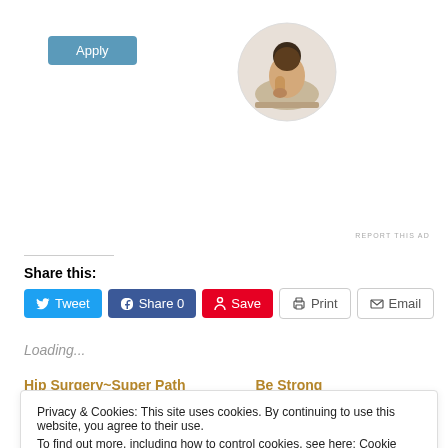[Figure (other): Blue Apply button]
[Figure (photo): Circular photo of a man sitting at a desk, resting his chin on his hand, looking thoughtful]
REPORT THIS AD
Share this:
[Figure (other): Social share buttons: Tweet, Share 0, Save, Print, Email]
Loading...
Hip Surgery~Super Path   Be Strong
Privacy & Cookies: This site uses cookies. By continuing to use this website, you agree to their use.
To find out more, including how to control cookies, see here: Cookie Policy
Close and accept
REPORT THIS AD